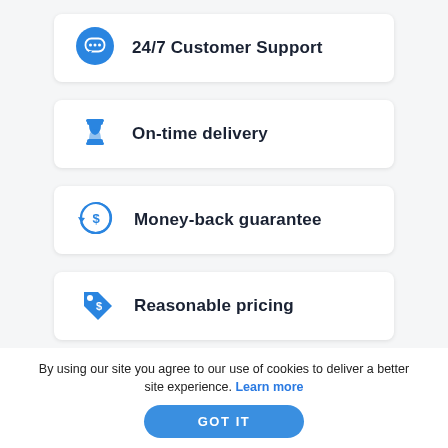24/7 Customer Support
On-time delivery
Money-back guarantee
Reasonable pricing
By using our site you agree to our use of cookies to deliver a better site experience. Learn more
GOT IT